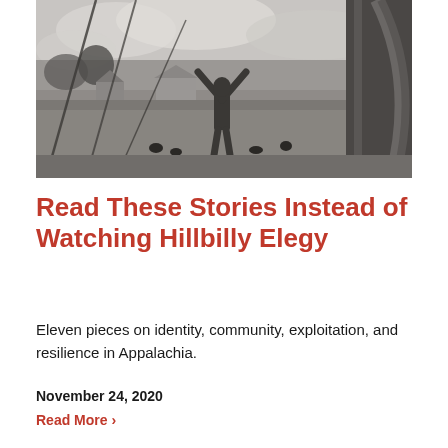[Figure (photo): Black and white photograph of a person with arms raised in a farm setting, with chickens, fencing, and farm equipment visible in the background.]
Read These Stories Instead of Watching Hillbilly Elegy
Eleven pieces on identity, community, exploitation, and resilience in Appalachia.
November 24, 2020
Read More >